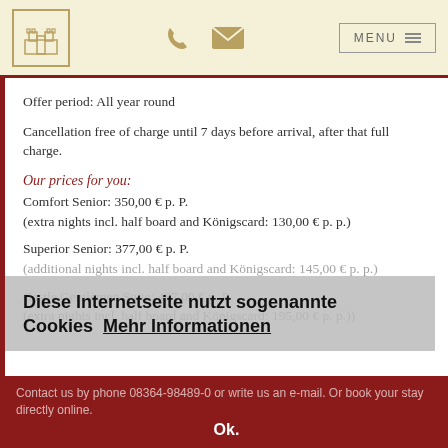Logo | Phone | Email | MENU
Offer period: All year round
Cancellation free of charge until 7 days before arrival, after that full charge.
Our prices for you:
Comfort Senior: 350,00 € p. P.
(extra nights incl. half board and Königscard: 130,00 € p. p.)
Superior Senior: 377,00 € p. P.
(additional nights incl. half board and Königscard: 145,00 € p. p.)
Castle Gentlemen Suite: 467,00 € p. P.
(extra nights incl. half board and Königscard: 195,00 € p. p.))
Diese Internetseite nutzt sogenannte Cookies  Mehr Informationen
Contact us by phone 08364-98489-0 or write us an e-mail. Or book your stay directly online.
Ok.